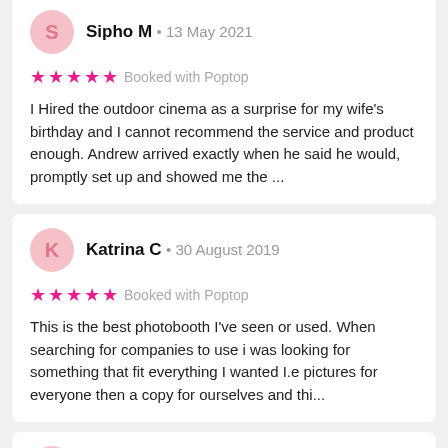Sipho M · 13 May 2021
★★★★★ Booked with Poptop
I Hired the outdoor cinema as a surprise for my wife's birthday and I cannot recommend the service and product enough. Andrew arrived exactly when he said he would, promptly set up and showed me the ...
Katrina C · 30 August 2019
★★★★★ Booked with Poptop
This is the best photobooth I've seen or used. When searching for companies to use i was looking for something that fit everything I wanted I.e pictures for everyone then a copy for ourselves and thi...
Chukwuma G · 21 April 2022